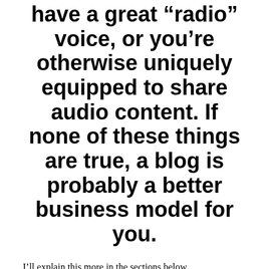have a great "radio" voice, or you're otherwise uniquely equipped to share audio content. If none of these things are true, a blog is probably a better business model for you.
I'll explain this more in the sections below.
Blogging Vs. Podcasting: Ad Revenue Rates
According to Advertise Cast, average podcast CPMs range from $22 to $31 depending on several factors including the number of listeners.